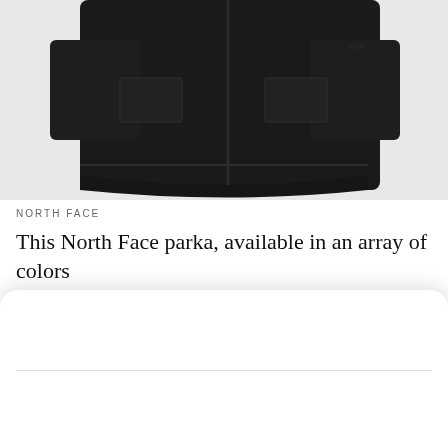[Figure (photo): Cropped product photo of a dark black North Face parka/jacket, showing the lower torso and sleeve area against a light gray background.]
NORTH FACE
This North Face parka, available in an array of colors
[Figure (screenshot): iOS app picker modal dialog titled 'View CBS News In' with two app options: CBS News App with an OPEN button, and Safari with a CONTINUE button.]
View CBS News In
CBS News App — OPEN
Safari — CONTINUE